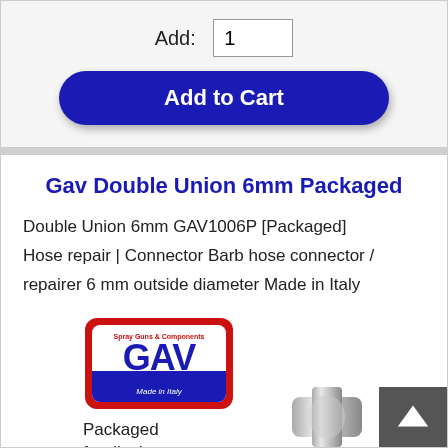Add: 1
Add to Cart
Gav Double Union 6mm Packaged
Double Union 6mm GAV1006P [Packaged] Hose repair | Connector Barb hose connector / repairer 6 mm outside diameter Made in Italy
[Figure (logo): GAV logo - red and blue brand logo with text 'Spray Guns & Components' and 'Made in Italy']
Packaged for display